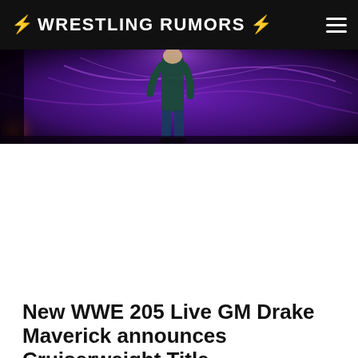⚡ WRESTLING RUMORS ⚡
[Figure (photo): A wrestler standing on a stage with purple lighting and dramatic smoke effects in the background]
New WWE 205 Live GM Drake Maverick announces Cruiserweight Title